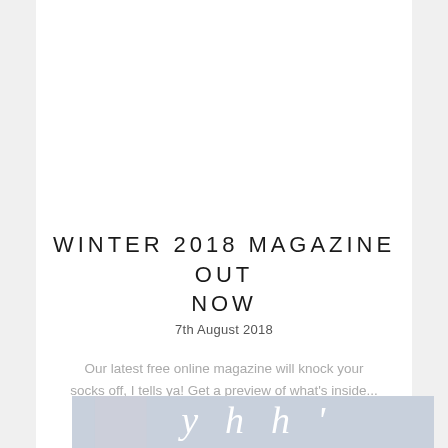WINTER 2018 MAGAZINE OUT NOW
7th August 2018
Our latest free online magazine will knock your socks off, I tells ya! Get a preview of what's inside...
READ MORE
[Figure (photo): Decorative lifestyle photo with white script text overlay on a light blue-grey background]